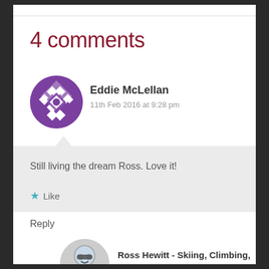4 comments
Eddie McLellan
11th Feb 2016 at 9:28 pm
Still living the dream Ross. Love it!
Like
Reply
Ross Hewitt - Skiing, Climbing, Photography